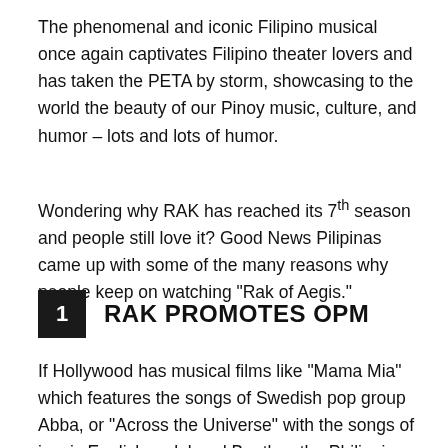The phenomenal and iconic Filipino musical once again captivates Filipino theater lovers and has taken the PETA by storm, showcasing to the world the beauty of our Pinoy music, culture, and humor – lots and lots of humor.
Wondering why RAK has reached its 7th season and people still love it? Good News Pilipinas came up with some of the many reasons why people keep on watching "Rak of Aegis."
1  RAK PROMOTES OPM
If Hollywood has musical films like "Mama Mia" which features the songs of Swedish pop group Abba, or "Across the Universe" with the songs of iconic English rock band Beatles, the Philippines can definitely line up "Rak of Aegis" among its best Filipino musical showcases.